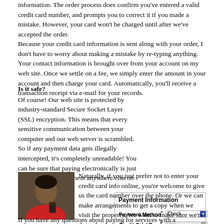information. The order process does confirm you've entered a valid credit card number, and prompts you to correct it if you made a mistake. However, your card won't be charged until after we've accepted the order. Because your credit card information is sent along with your order, I don't have to worry about making a mistake by re-typing anything. Your contact information is brought over from your account on my web site. Once we settle on a fee, we simply enter the amount in your account and then charge your card. Automatically, you'll receive a transaction receipt via e-mail for your records.
Is it safe?
Of course! Our web site is protected by industry-standard Secure Socket Layer (SSL) encryption. This means that every sensitive communication between your computer and our web server is scrambled. So if any payment data gets illegally intercepted, it's completely unreadable! You can be sure that paying electronically is just as safe as doing business anywhere else on the Internet!
[Figure (screenshot): Payment Information form with fields: Payment Method (Check dropdown), Credit Card Type (Visa dropdown), First Name (yellow input), Last Name (yellow input), Card Number (yellow input), Expiration Month (01 dropdown), Expiration Year (2005 dropdown)]
[Figure (photo): Person holding a cell phone, wearing a red shirt, viewed from behind/side]
Naturally, if you just prefer not to enter your credit card info online, you're welcome to give us the card number over the phone. Or we can make arrangements to get a copy when we visit the property. We want to make sure we're doing business in way that makes you comfortable.
If you have any questions about paying for services with a